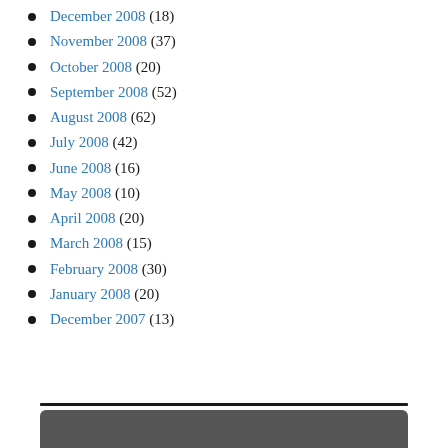December 2008 (18)
November 2008 (37)
October 2008 (20)
September 2008 (52)
August 2008 (62)
July 2008 (42)
June 2008 (16)
May 2008 (10)
April 2008 (20)
March 2008 (15)
February 2008 (30)
January 2008 (20)
December 2007 (13)